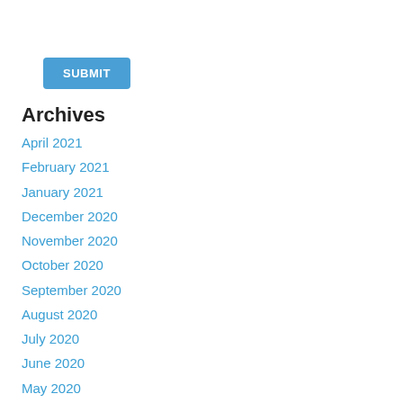SUBMIT
Archives
April 2021
February 2021
January 2021
December 2020
November 2020
October 2020
September 2020
August 2020
July 2020
June 2020
May 2020
April 2020
March 2020
February 2020
January 2020